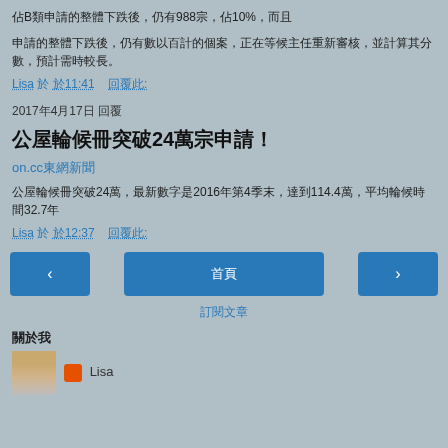佔B類申請的整體下跌後，仍有988宗，佔10%，而且
申請的整體下跌後，仍有數以百計的個案，正在等候主任重新審核，並計算其分數，預計需時較長。
Lisa 於 於11:41   回覆此:
2017年4月17日 回覆
公屋輪候冊突破24萬宗申請！
on.cc東網新聞
公屋輪候冊突破24萬，最新數字是2016年第4季末，達到114.4萬，平均輪候時間32.7年
Lisa 於 於12:37   回覆此:
首頁
訂閱文章
關於我
Lisa